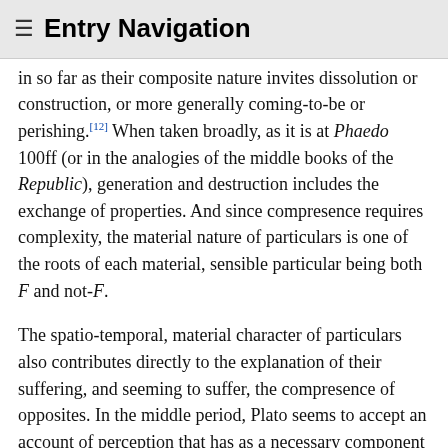≡ Entry Navigation
in so far as their composite nature invites dissolution or construction, or more generally coming-to-be or perishing.[12] When taken broadly, as it is at Phaedo 100ff (or in the analogies of the middle books of the Republic), generation and destruction includes the exchange of properties. And since compresence requires complexity, the material nature of particulars is one of the roots of each material, sensible particular being both F and not-F.
The spatio-temporal, material character of particulars also contributes directly to the explanation of their suffering, and seeming to suffer, the compresence of opposites. In the middle period, Plato seems to accept an account of perception that has as a necessary component the interaction of material elements. There may be subsequent or simultaneous psychic activity,[13] the judgment part of 'perceptual judgment', but there is at least some material intercourse between the body of the perceived object and the sense faculty whose sensory object it is. The qualifications needed to account for a particular's being F